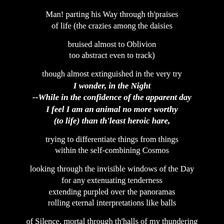Man! parting his Way through th'praises
of life (the crazies among the daisies

bruised almost to Oblivion
too abstract even to track)

though almost extinguished in the very try
I wonder, in the Night
--While in the confidence of the apparent day
I feel I am an animal no more worthy
(to life) than th'least heroic hare,

trying to differentiate things from things
within the self-combining Cosmos

looking through the invisible windows of the Day
for any extenuating tenderness
extending purpled over the panoramas
rolling eternal interpretations like balls

of Silence, mortal through th'halls of my thundering
humanity-- so diffused an universe